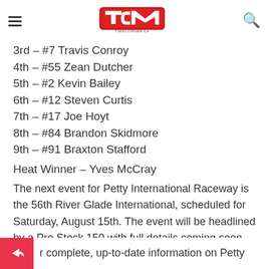TCM timscorner.ca
3rd – #7 Travis Conroy
4th – #55 Zean Dutcher
5th – #2 Kevin Bailey
6th – #12 Steven Curtis
7th – #17 Joe Hoyt
8th – #84 Brandon Skidmore
9th – #91 Braxton Stafford
Heat Winner – Yves McCray
The next event for Petty International Raceway is the 56th River Glade International, scheduled for Saturday, August 15th. The event will be headlined by a Pro Stock 150 with full details coming soon.
r complete, up-to-date information on Petty